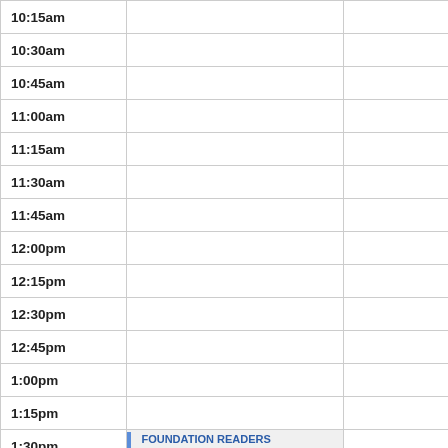| Time |  |  |
| --- | --- | --- |
| 10:15am |  |  |
| 10:30am |  |  |
| 10:45am |  |  |
| 11:00am |  |  |
| 11:15am |  |  |
| 11:30am |  |  |
| 11:45am |  |  |
| 12:00pm |  |  |
| 12:15pm |  |  |
| 12:30pm |  |  |
| 12:45pm |  |  |
| 1:00pm |  |  |
| 1:15pm |  |  |
| 1:30pm | FOUNDATION READERS THEATRE MEETING |  |